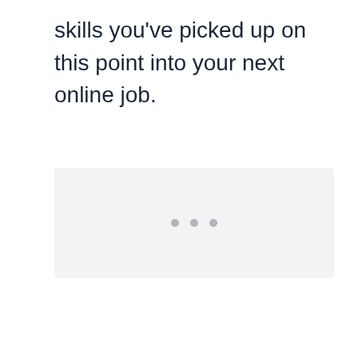skills you’ve picked up on this point into your next online job.
[Figure (other): A light gray placeholder box with three gray dots centered inside, indicating loading or an image placeholder.]